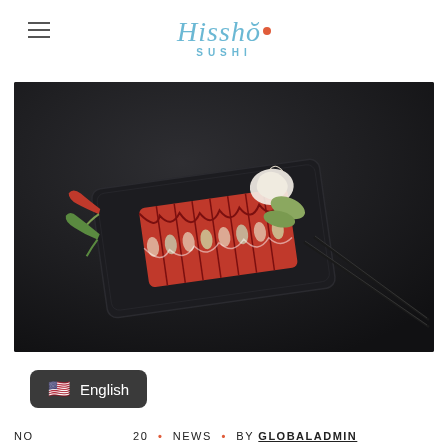Hissho Sushi logo and navigation
[Figure (photo): A dark-themed food photography shot of a sushi roll on a black rectangular plate, garnished with pickled ginger and a leaf garnish, with red chili peppers on the left and chopsticks on the right, all on a dark stone surface.]
English
NOV [date] 20 • NEWS • BY GLOBALADMIN